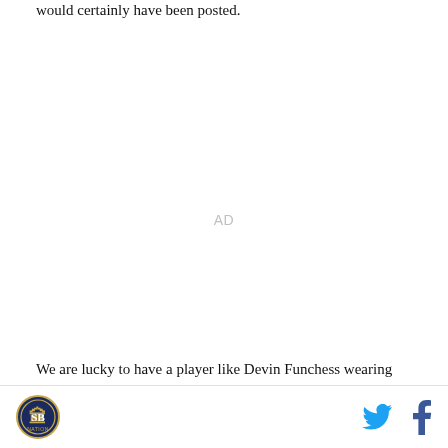would certainly have been posted.
[Figure (other): Advertisement placeholder area with 'AD' label in gray]
We are lucky to have a player like Devin Funchess wearing the number 1, and he's proving that he is indeed deserving of that storied jersey. We just need
SB Nation logo | Twitter icon | Facebook icon